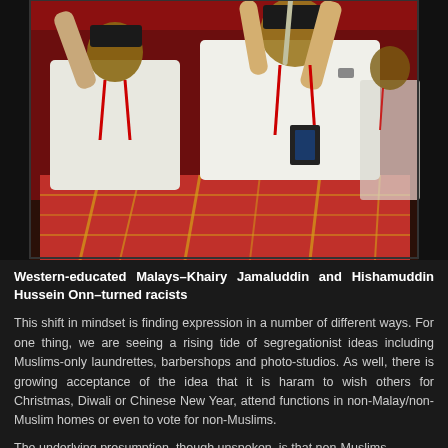[Figure (photo): Photo of two men in traditional Malay white attire (baju Melayu) with red and gold plaid sarongs and conference lanyards, raising objects above their heads at what appears to be a political event or conference.]
Western-educated Malays–Khairy Jamaluddin and Hishamuddin Hussein Onn–turned racists
This shift in mindset is finding expression in a number of different ways. For one thing, we are seeing a rising tide of segregationist ideas including Muslims-only laundrettes, barbershops and photo-studios. As well, there is growing acceptance of the idea that it is haram to wish others for Christmas, Diwali or Chinese New Year, attend functions in non-Malay/non-Muslim homes or even to vote for non-Muslims.
The underlying presumption, though unspoken, is that non-Muslims